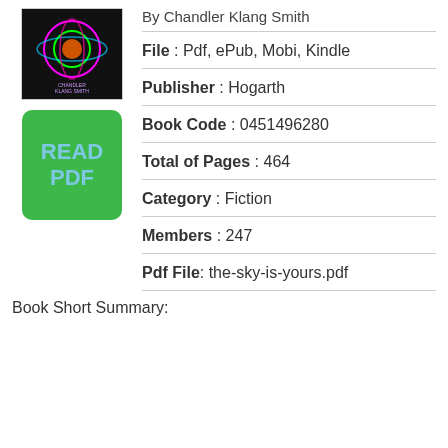By Chandler Klang Smith
File : Pdf, ePub, Mobi, Kindle
Publisher : Hogarth
Book Code : 0451496280
Total of Pages : 464
Category : Fiction
Members : 247
Pdf File: the-sky-is-yours.pdf
Book Short Summary: